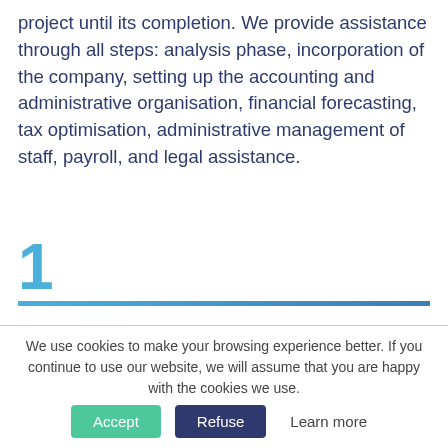project until its completion. We provide assistance through all steps: analysis phase, incorporation of the company, setting up the accounting and administrative organisation, financial forecasting, tax optimisation, administrative management of staff, payroll, and legal assistance.
1
We advise and assist professionals regarding all legal, social and tax fields.
We use cookies to make your browsing experience better. If you continue to use our website, we will assume that you are happy with the cookies we use.